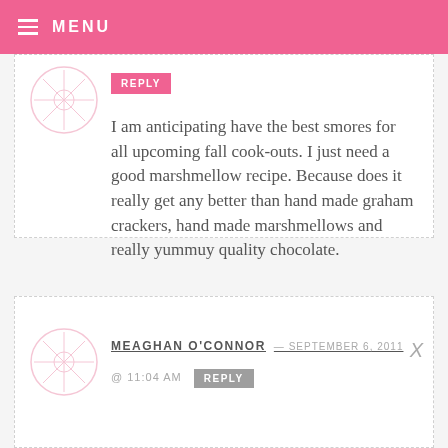MENU
I am anticipating have the best smores for all upcoming fall cook-outs. I just need a good marshmellow recipe. Because does it really get any better than hand made graham crackers, hand made marshmellows and really yummuy quality chocolate.
MEAGHAN O'CONNOR — SEPTEMBER 6, 2011 @ 11:04 AM REPLY